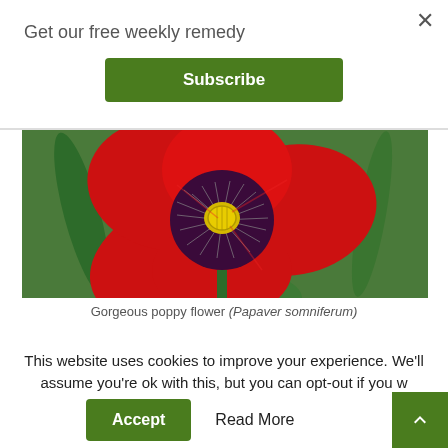Get our free weekly remedy
Subscribe
[Figure (photo): Close-up photograph of a red poppy flower (Papaver somniferum) with dark purple center and yellow stamen, surrounded by green foliage]
Gorgeous poppy flower (Papaver somniferum)
This website uses cookies to improve your experience. We'll assume you're ok with this, but you can opt-out if you w...
Accept
Read More